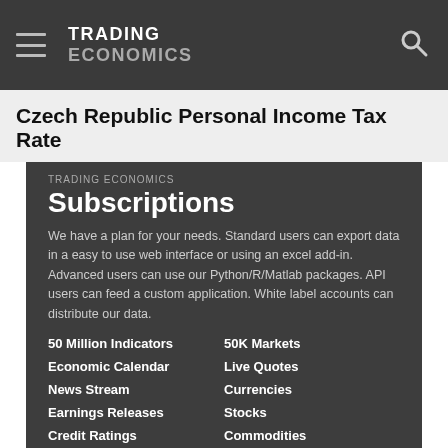TRADING ECONOMICS
Czech Republic Personal Income Tax Rate
TRADING ECONOMICS
Subscriptions
We have a plan for your needs. Standard users can export data in a easy to use web interface or using an excel add-in. Advanced users can use our Python/R/Matlab packages. API users can feed a custom application. White label accounts can distribute our data.
50 Million Indicators
50K Markets
Economic Calendar
Live Quotes
News Stream
Currencies
Earnings Releases
Stocks
Credit Ratings
Commodities
Forecasts
Bonds